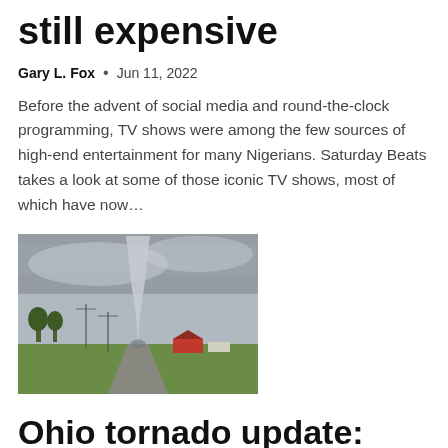still expensive
Gary L. Fox  •  Jun 11, 2022
Before the advent of social media and round-the-clock programming, TV shows were among the few sources of high-end entertainment for many Nigerians. Saturday Beats takes a look at some of those iconic TV shows, most of which have now...
[Figure (photo): A tornado funnel cloud touching down in a rural landscape with trees, a road, and farm buildings under a cloudy sky.]
Ohio tornado update: Shock video shows moment twister touched down in storm with